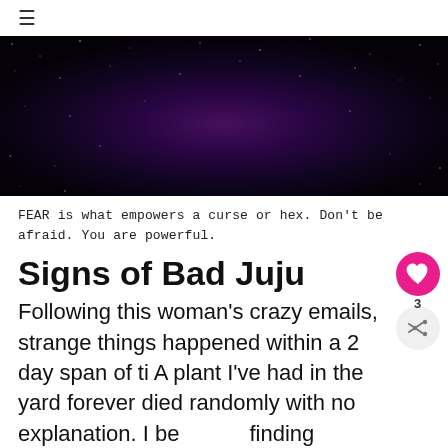≡
[Figure (photo): Dark night sky or space background with purple/violet glow in center and scattered light particles or stars]
FEAR is what empowers a curse or hex. Don't be afraid. You are powerful.
Signs of Bad Juju
Following this woman's crazy emails, strange things happened within a 2 day span of ti A plant I've had in the yard forever died randomly with no explanation. I be finding broken glass in the front yard. I accidentally killed a lizard that was sitting